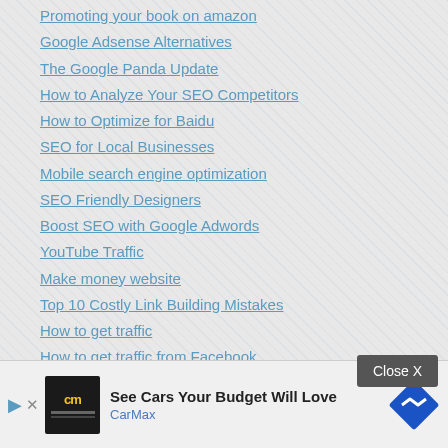Promoting your book on amazon
Google Adsense Alternatives
The Google Panda Update
How to Analyze Your SEO Competitors
How to Optimize for Baidu
SEO for Local Businesses
Mobile search engine optimization
SEO Friendly Designers
Boost SEO with Google Adwords
YouTube Traffic
Make money website
Top 10 Costly Link Building Mistakes
How to get traffic
How to get traffic from Facebook
How to get traffic from Twitter
HTML 5 and SEO
SEO Careers during a Recession
Bing
SE
[Figure (screenshot): CarMax advertisement banner at the bottom: 'See Cars Your Budget Will Love' with CarMax branding and logo, a play button and close X button overlaid.]